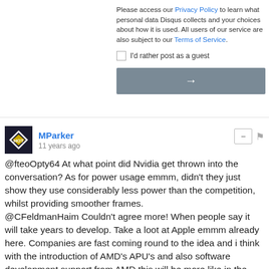Please access our Privacy Policy to learn what personal data Disqus collects and your choices about how it is used. All users of our service are also subject to our Terms of Service.
I'd rather post as a guest
[Figure (other): Gray arrow button for form submission]
[Figure (logo): HOT logo avatar in dark background with yellow/gold diamond shape]
MParker
11 years ago
@fteoOpty64 At what point did Nvidia get thrown into the conversation? As for power usage emmm, didn't they just show they use considerably less power than the competition, whilst providing smoother frames.
@CFeldmanHaim Couldn't agree more! When people say it will take years to develop. Take a loot at Apple emmm already here. Companies are fast coming round to the idea and i think with the introduction of AMD's APU's and also software development support from AMD this will be more like in the next year or so. This is just the beginning, in 1Q 2012 AMD will introduce next gen Bulldozer APU's, with AMD HD 7000 series GPUs. I really do think that this is the most significant leap in the x86 platform. The